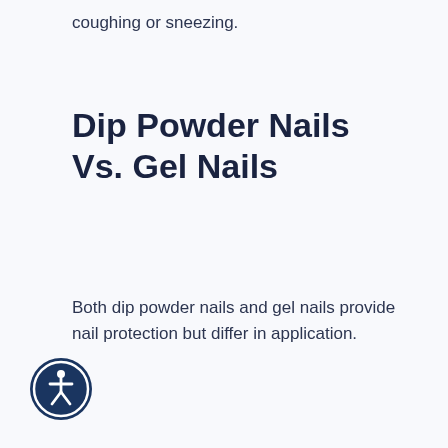coughing or sneezing.
Dip Powder Nails Vs. Gel Nails
Both dip powder nails and gel nails provide nail protection but differ in application.
[Figure (illustration): Accessibility icon: circular dark blue button with a person/wheelchair symbol in white, ringed by a white circle border.]